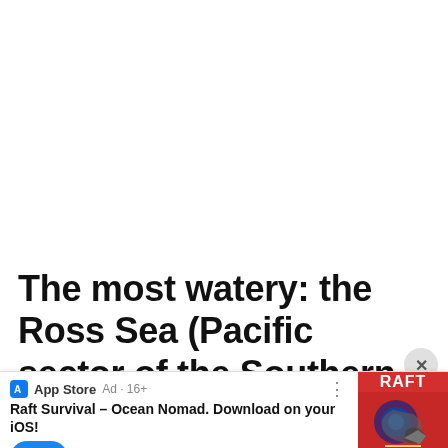The most watery: the Ross Sea (Pacific sector of the Southern Ocean)
[Figure (screenshot): App Store advertisement banner for 'Raft Survival – Ocean Nomad' iOS game. Shows App Store logo, Ad·16+ label, app title text, download button, 5-star rating, 'Free' label, and game thumbnail image with a shark and RAFT logo on red background.]